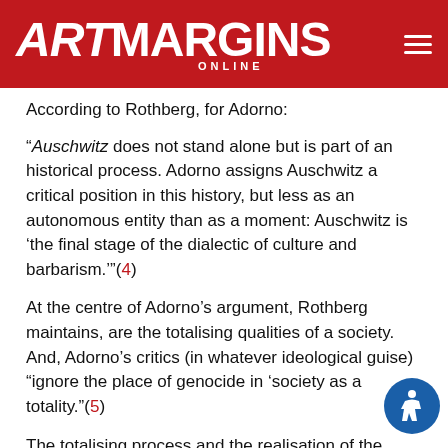ARTMARGINS ONLINE
According to Rothberg, for Adorno:
“Auschwitz does not stand alone but is part of an historical process. Adorno assigns Auschwitz a critical position in this history, but less as an autonomous entity than as a moment: Auschwitz is ‘the final stage of the dialectic of culture and barbarism.’”(4)
At the centre of Adorno’s argument, Rothberg maintains, are the totalising qualities of a society. And, Adorno’s critics (in whatever ideological guise) “ignore the place of genocide in ‘society as a totality.”(5)
The totalising process and the realisation of the complete integration of the social machinery (civic, ideological and cultural) make genocide and mass annihilation possible.(6) Adorno’s often quoted reference to the fate of poetry after the Holocaust(7) refers to the entrenched debilitating social effects